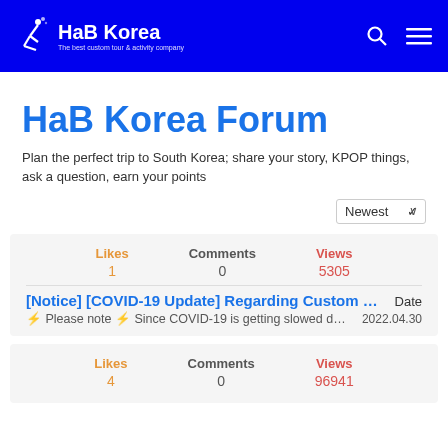HaB Korea – The best custom tour & activity company
HaB Korea Forum
Plan the perfect trip to South Korea; share your story, KPOP things, ask a question, earn your points
Newest (sort dropdown)
| Likes | Comments | Views |
| --- | --- | --- |
| 1 | 0 | 5305 |
[Notice] [COVID-19 Update] Regarding Custom Tou...
⚡ Please note ⚡ Since COVID-19 is getting slowed down afte...    Date: 2022.04.30
| Likes | Comments | Views |
| --- | --- | --- |
| 4 | 0 | 96941 |